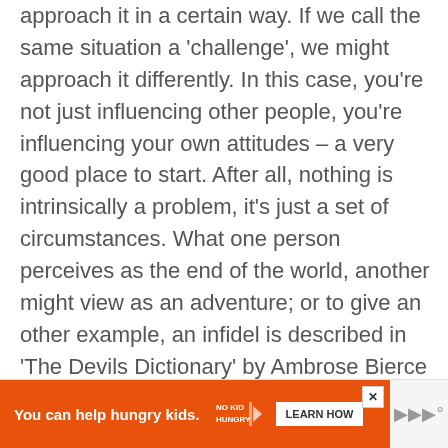approach it in a certain way. If we call the same situation a 'challenge', we might approach it differently. In this case, you're not just influencing other people, you're influencing your own attitudes – a very good place to start. After all, nothing is intrinsically a problem, it's just a set of circumstances. What one person perceives as the end of the world, another might view as an adventure; or to give an other example, an infidel is described in 'The Devils Dictionary' by Ambrose Bierce in 1911 as: 'In New York, one who does not
[Figure (other): Advertisement banner: orange background with text 'You can help hungry kids.' and No Kid Hungry logo with 'LEARN HOW' button. Close button (X) in top right corner.]